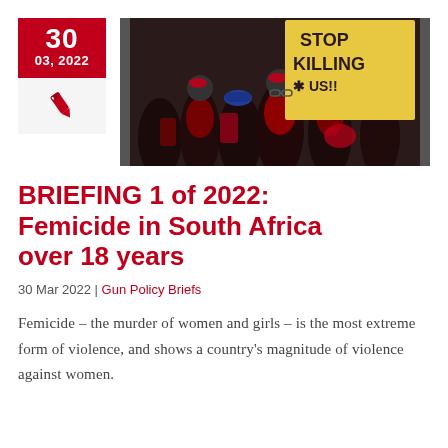[Figure (other): Date box showing '30' and '03, 2022' in white text on red background, with a pen/edit icon below]
[Figure (photo): Protest photo showing people in red clothing and accessories holding a sign reading 'STOP KILLING * US!!']
BRIEFING 1 of 2022: Femicide in South Africa over 18 years
30 Mar 2022 | Gun Policy Briefs
Femicide – the murder of women and girls – is the most extreme form of violence, and shows a country's magnitude of violence against women.